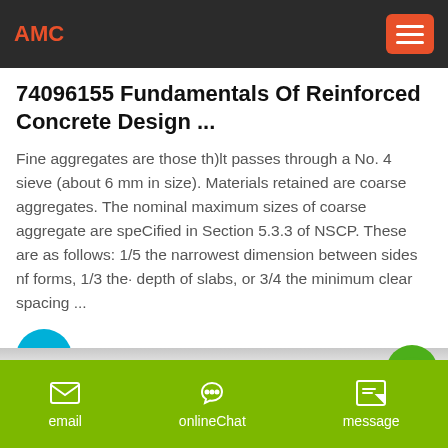AMC
74096155 Fundamentals Of Reinforced Concrete Design ...
Fine aggregates are those th)lt passes through a No. 4 sieve (about 6 mm in size). Materials retained are coarse aggregates. The nominal maximum sizes of coarse aggregate are speCified in Section 5.3.3 of NSCP. These are as follows: 1/5 the narrowest dimension between sides nf forms, 1/3 the· depth of slabs, or 3/4 the minimum clear spacing ...
[Figure (other): Circular cyan arrow button (right-pointing arrow)]
[Figure (other): Green circular rocket/notification button]
email   onlineChat   message